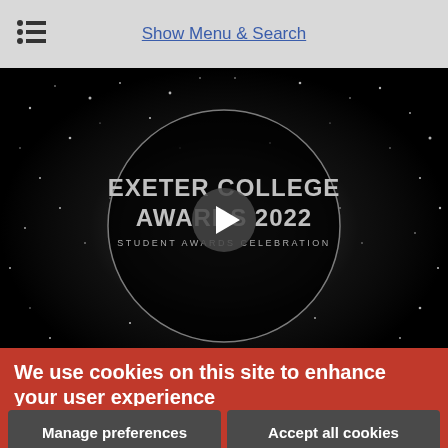Show Menu & Search
[Figure (screenshot): Video thumbnail showing Exeter College Awards 2022 Student Awards Celebration on a black background with sparkles, with a play button overlay]
Exceptional Student Talent Celebrated at Exeter College
We use cookies on this site to enhance your user experience
By clicking the Accept button, you agree to us doing so.
No, give me more info